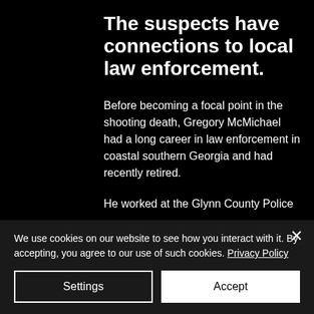The suspects have connections to local law enforcement.
Before becoming a focal point in the shooting death, Gregory McMichael had a long career in law enforcement in coastal southern Georgia and had recently retired.
He worked at the Glynn County Police
We use cookies on our website to see how you interact with it. By accepting, you agree to our use of such cookies. Privacy Policy
Settings
Accept